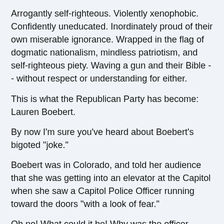Arrogantly self-righteous. Violently xenophobic. Confidently uneducated. Inordinately proud of their own miserable ignorance. Wrapped in the flag of dogmatic nationalism, mindless patriotism, and self-righteous piety. Waving a gun and their Bible -- without respect or understanding for either.
This is what the Republican Party has become: Lauren Boebert.
By now I'm sure you've heard about Boebert's bigoted "joke."
Boebert was in Colorado, and told her audience that she was getting into an elevator at the Capitol when she saw a Capitol Police Officer running toward the doors "with a look of fear."
Oh no! What could it be! Why was the officer afraid for Lauren Boebert? Why?!
In the story, Boebert responds to the officer's panic for her wellbeing by saying, "I looked to my left and there she is: